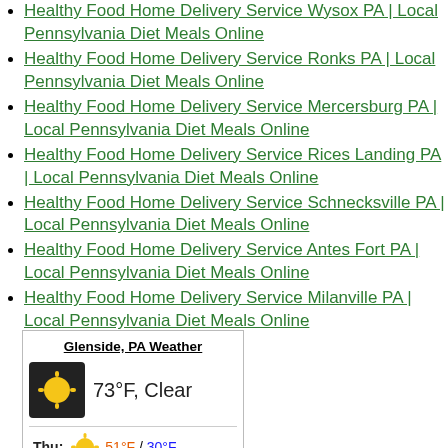Healthy Food Home Delivery Service Wysox PA | Local Pennsylvania Diet Meals Online
Healthy Food Home Delivery Service Ronks PA | Local Pennsylvania Diet Meals Online
Healthy Food Home Delivery Service Mercersburg PA | Local Pennsylvania Diet Meals Online
Healthy Food Home Delivery Service Rices Landing PA | Local Pennsylvania Diet Meals Online
Healthy Food Home Delivery Service Schnecksville PA | Local Pennsylvania Diet Meals Online
Healthy Food Home Delivery Service Antes Fort PA | Local Pennsylvania Diet Meals Online
Healthy Food Home Delivery Service Milanville PA | Local Pennsylvania Diet Meals Online
[Figure (infographic): Weather widget for Glenside, PA showing 73°F Clear currently, and Thursday forecast of 51°F / 30°F with a sunny icon.]